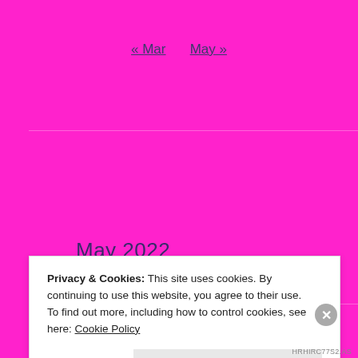« Mar   May »
May 2022
Privacy & Cookies: This site uses cookies. By continuing to use this website, you agree to their use.
To find out more, including how to control cookies, see here: Cookie Policy
Close and accept
HRHIRC77S2.AS